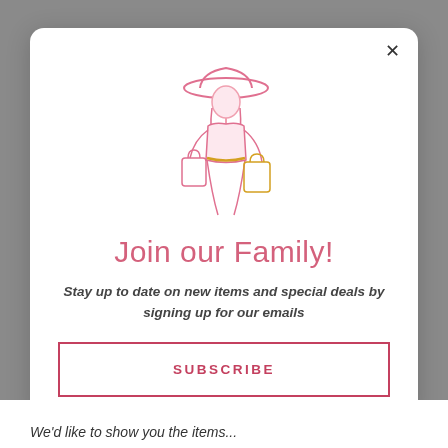[Figure (illustration): Line art illustration of a woman wearing a wide-brimmed hat, carrying shopping bags, drawn in pink and gold gradient tones.]
Join our Family!
Stay up to date on new items and special deals by signing up for our emails
SUBSCRIBE
We'd like to show you the items...